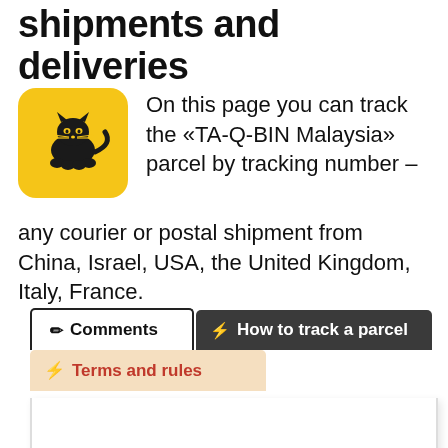shipments and deliveries
[Figure (logo): TA-Q-BIN Malaysia logo: yellow rounded square with black cat/fox mascot icon]
On this page you can track the «TA-Q-BIN Malaysia» parcel by tracking number – any courier or postal shipment from China, Israel, USA, the United Kingdom, Italy, France.
✏ Comments
⚡ How to track a parcel
⚡ Terms and rules